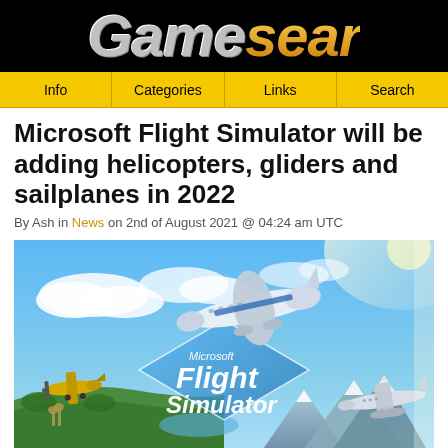Gamesear
Info | Categories | Links | Search
Microsoft Flight Simulator will be adding helicopters, gliders and sailplanes in 2022
By Ash in News on 2nd of August 2021 @ 04:24 am UTC
[Figure (photo): Microsoft Flight Simulator promotional artwork showing multiple aircraft including a large commercial jet, a small yellow propeller plane, and a private jet, with the Microsoft Flight Simulator logo overlaid on a diamond-shaped graphic, set against a blue sky and landscape background.]